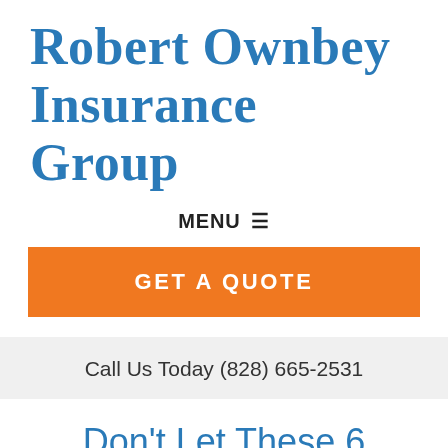Robert Ownbey Insurance Group
MENU ☰
GET A QUOTE
Call Us Today (828) 665-2531
Don't Let These 6 Reasons Hold You Back